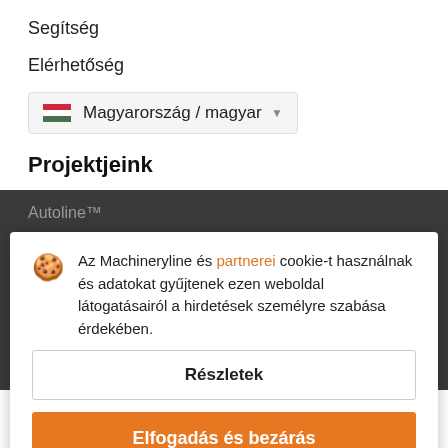Segítség
Elérhetőség
Magyarország / magyar
Projektjeink
Autoline™
Agriline™
Információk
Az Machineryline és partnerei cookie-t használnak és adatokat gyűjtenek ezen weboldal látogatásairól a hirdetések személyre szabása érdekében.
Részletek
Elfogadás és bezárás
Általános szerződési feltételek
Biztonságtippek